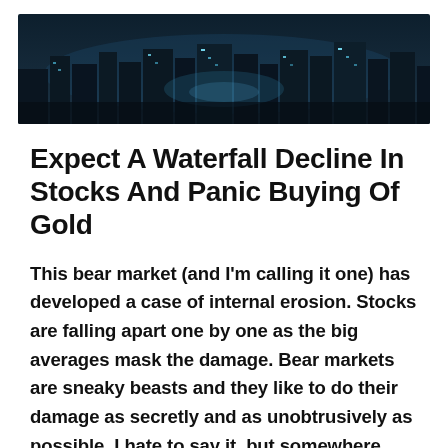[Figure (photo): Dark cityscape at night with blue-tinted city lights and buildings silhouette]
Expect A Waterfall Decline In Stocks And Panic Buying Of Gold
This bear market (and I'm calling it one) has developed a case of internal erosion. Stocks are falling apart one by one as the big averages mask the damage. Bear markets are sneaky beasts and they like to do their damage as secretly and as unobtrusively as possible. I hate to say it, but somewhere ahead the bears are going to get together and the innocent little stream is going to turn into